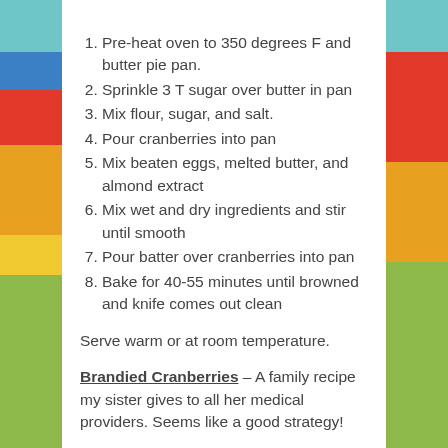Pre-heat oven to 350 degrees F and butter pie pan.
Sprinkle 3 T sugar over butter in pan
Mix flour, sugar, and salt.
Pour cranberries into pan
Mix beaten eggs, melted butter, and almond extract
Mix wet and dry ingredients and stir until smooth
Pour batter over cranberries into pan
Bake for 40-55 minutes until browned and knife comes out clean
Serve warm or at room temperature.
Brandied Cranberries – A family recipe my sister gives to all her medical providers. Seems like a good strategy!